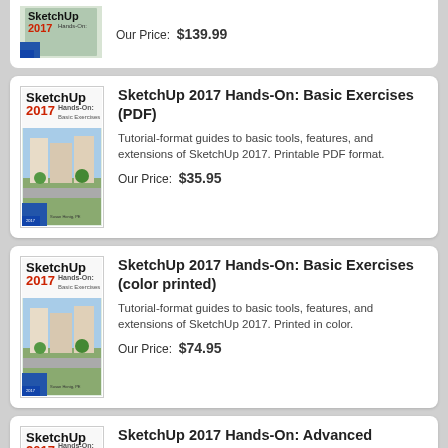[Figure (illustration): Book cover for a SketchUp title (partially visible at top)]
Our Price:  $139.99
[Figure (illustration): Book cover: SketchUp 2017 Hands-On: Basic Exercises]
SketchUp 2017 Hands-On: Basic Exercises (PDF)
Tutorial-format guides to basic tools, features, and extensions of SketchUp 2017. Printable PDF format.
Our Price:  $35.95
[Figure (illustration): Book cover: SketchUp 2017 Hands-On: Basic Exercises]
SketchUp 2017 Hands-On: Basic Exercises (color printed)
Tutorial-format guides to basic tools, features, and extensions of SketchUp 2017. Printed in color.
Our Price:  $74.95
[Figure (illustration): Book cover: SketchUp 2017 Hands-On: Advanced Exercises (partially visible)]
SketchUp 2017 Hands-On: Advanced Exercises (PDF)